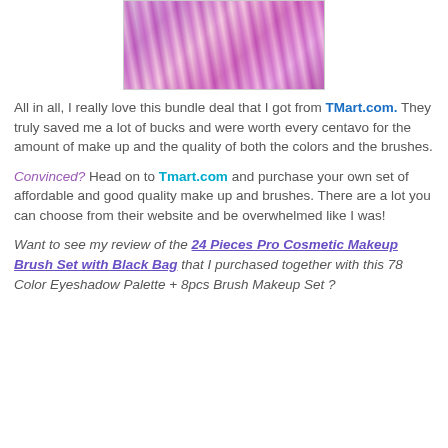[Figure (photo): Photo of pink and purple makeup brushes arranged in a pink roll-up brush holder, viewed from above showing the brush handles]
All in all, I really love this bundle deal that I got from TMart.com. They truly saved me a lot of bucks and were worth every centavo for the amount of make up and the quality of both the colors and the brushes.
Convinced? Head on to Tmart.com and purchase your own set of affordable and good quality make up and brushes. There are a lot you can choose from their website and be overwhelmed like I was!
Want to see my review of the 24 Pieces Pro Cosmetic Makeup Brush Set with Black Bag that I purchased together with this 78 Color Eyeshadow Palette + 8pcs Brush Makeup Set ?